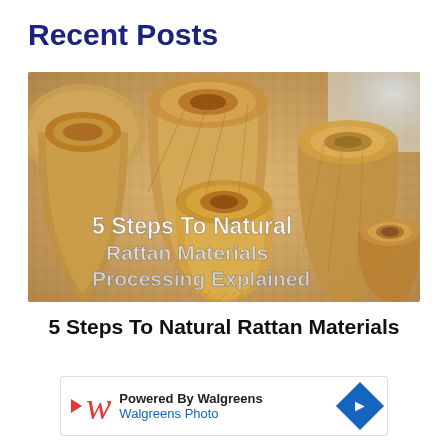Recent Posts
[Figure (photo): Photo of woven rattan basket tops, tan/beige color, with overlaid text reading '5 Steps To Natural Rattan Materials Processing Explained']
5 Steps To Natural Rattan Materials
Powered By Walgreens
Walgreens Photo